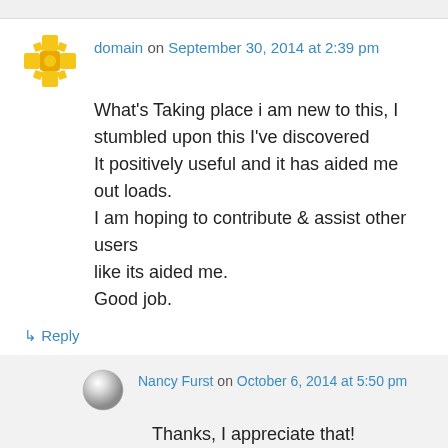domain on September 30, 2014 at 2:39 pm
What's Taking place i am new to this, I stumbled upon this I've discovered
It positively useful and it has aided me out loads.
I am hoping to contribute & assist other users like its aided me.
Good job.
↳ Reply
Nancy Furst on October 6, 2014 at 5:50 pm
Thanks, I appreciate that!